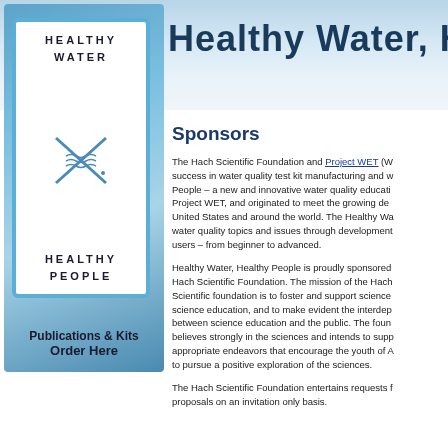[Figure (logo): Healthy Water, Healthy People logo with mountain/water background, Publications & Kits Order Here text]
Healthy Water, He
Sponsors
The Hach Scientific Foundation and Project WET (W... success in water quality test kit manufacturing and w... People – a new and innovative water quality educati... Project WET, and originated to meet the growing de... United States and around the world. The Healthy Wa... water quality topics and issues through development... users – from beginner to advanced.
Healthy Water, Healthy People is proudly sponsored... Hach Scientific Foundation. The mission of the Hac... Scientific foundation is to foster and support science... science education, and to make evident the interdep... between science education and the public. The fou... believes strongly in the sciences and intends to supp... appropriate endeavors that encourage the youth of A... to pursue a positive exploration of the sciences.
The Hach Scientific Foundation entertains requests... proposals on an invitation only basis.